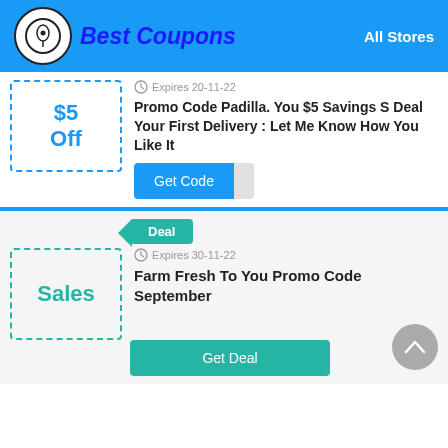Best Coupons — All Stores
$5 Off
Expires 20-11-22
Promo Code Padilla. You $5 Savings S Deal Your First Delivery : Let Me Know How You Like It
Get Code
Deal
Expires 30-11-22
Sales
Farm Fresh To You Promo Code September
Get Deal